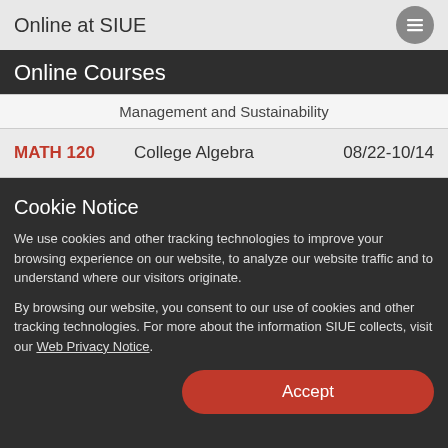Online at SIUE
Online Courses
| Course | Name | Dates |
| --- | --- | --- |
|  | Management and Sustainability |  |
| MATH 120 | College Algebra | 08/22-10/14 |
Cookie Notice
We use cookies and other tracking technologies to improve your browsing experience on our website, to analyze our website traffic and to understand where our visitors originate.
By browsing our website, you consent to our use of cookies and other tracking technologies. For more about the information SIUE collects, visit our Web Privacy Notice.